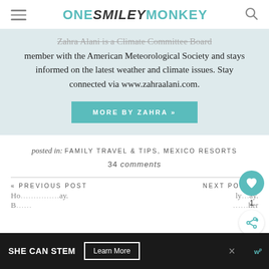ONE SMILEY MONKEY
member with the American Meteorological Society and stays informed on the latest weather and climate issues. Stay connected via www.zahraalani.com.
MORE BY ZAHRA »
posted in: FAMILY TRAVEL & TIPS, MEXICO RESORTS
34 comments
« PREVIOUS POST
NEXT POST »
SHE CAN STEM  Learn More